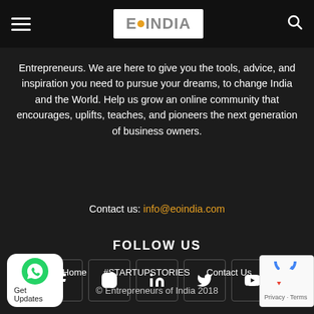EO INDIA
Entrepreneurs. We are here to give you the tools, advice, and inspiration you need to pursue your dreams, to change India and the World. Help us grow an online community that encourages, uplifts, teaches, and pioneers the next generation of business owners.
Contact us: info@eoindia.com
FOLLOW US
[Figure (infographic): Row of 5 social media icon buttons: Facebook, Instagram, LinkedIn, Twitter, YouTube]
Home   #STARTUPSTORIES   Contact Us
© Entrepreneurs of India 2018